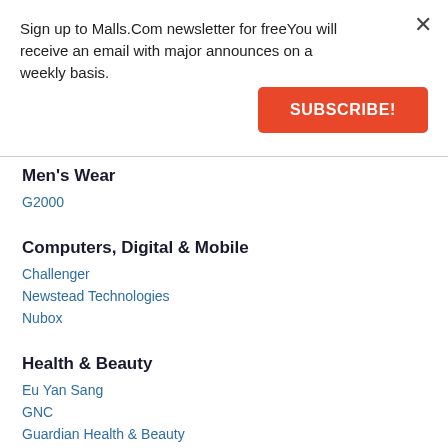Sign up to Malls.Com newsletter for freeYou will receive an email with major announces on a weekly basis.
SUBSCRIBE!
Men's Wear
G2000
Computers, Digital & Mobile
Challenger
Newstead Technologies
Nubox
Health & Beauty
Eu Yan Sang
GNC
Guardian Health & Beauty